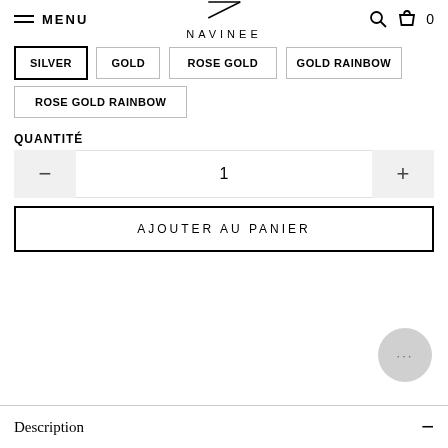MENU — NAVINEE — 0
SILVER
GOLD
ROSE GOLD
GOLD RAINBOW
ROSE GOLD RAINBOW
QUANTITÉ
1
AJOUTER AU PANIER
...
Description